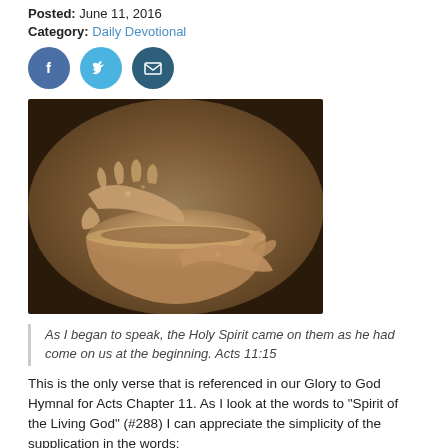Posted: June 11, 2016
Category: Daily Devotional
[Figure (other): Social media share icons: Facebook (blue circle with f), Twitter (cyan circle with bird), Email (dark blue circle with envelope)]
[Figure (photo): Photograph of hands shaping clay pottery on a potter's wheel — a large hand spreads over the top of a clay bowl while another hand shapes the base, both hands covered in clay]
As I began to speak, the Holy Spirit came on them as he had come on us at the beginning. Acts 11:15
This is the only verse that is referenced in our Glory to God Hymnal for Acts Chapter 11. As I look at the words to “Spirit of the Living God” (#288) I can appreciate the simplicity of the supplication in the words: